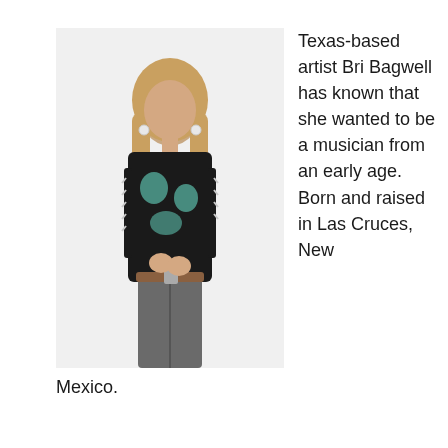[Figure (photo): A woman with long blonde hair wearing a black embroidered jacket with teal floral designs and white trim details, paired with grey jeans and a belt. She is standing against a light background, holding the jacket lapels.]
Texas-based artist Bri Bagwell has known that she wanted to be a musician from an early age. Born and raised in Las Cruces, New Mexico.